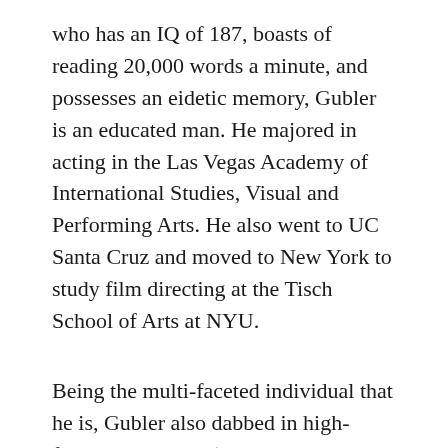who has an IQ of 187, boasts of reading 20,000 words a minute, and possesses an eidetic memory, Gubler is an educated man. He majored in acting in the Las Vegas Academy of International Studies, Visual and Performing Arts. He also went to UC Santa Cruz and moved to New York to study film directing at the Tisch School of Arts at NYU.
Being the multi-faceted individual that he is, Gubler also dabbed in high-fashion modeling (we're talking Marc Jacobs, Tommy Hilfiger, and Burberry), voice acting, painting, directing music videos, even becoming a YouTuber.